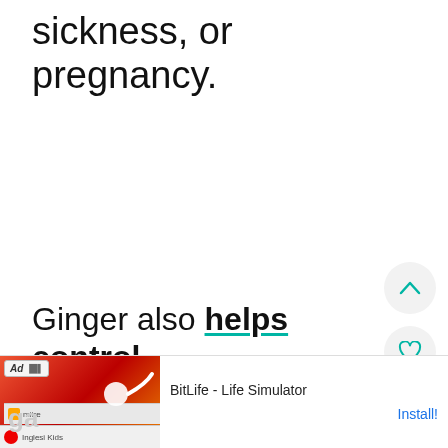sickness, or pregnancy.
Ginger also helps control other digestive issues like
[Figure (screenshot): BitLife - Life Simulator advertisement banner with ad label, game image, title and Install button]
ga